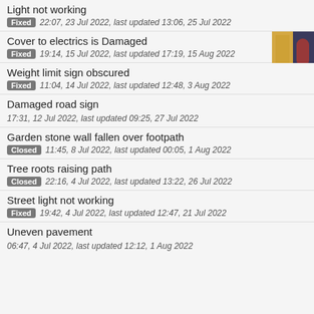Light not working
Fixed 22:07, 23 Jul 2022, last updated 13:06, 25 Jul 2022
Cover to electrics is Damaged
Fixed 19:14, 15 Jul 2022, last updated 17:19, 15 Aug 2022
Weight limit sign obscured
Fixed 11:04, 14 Jul 2022, last updated 12:48, 3 Aug 2022
Damaged road sign
17:31, 12 Jul 2022, last updated 09:25, 27 Jul 2022
Garden stone wall fallen over footpath
Closed 11:45, 8 Jul 2022, last updated 00:05, 1 Aug 2022
Tree roots raising path
Closed 22:16, 4 Jul 2022, last updated 13:22, 26 Jul 2022
Street light not working
Fixed 19:42, 4 Jul 2022, last updated 12:47, 21 Jul 2022
Uneven pavement
06:47, 4 Jul 2022, last updated 12:12, 1 Aug 2022